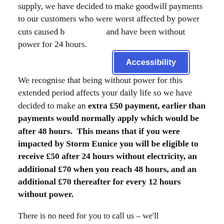supply, we have decided to make goodwill payments to our customers who were worst affected by power cuts caused b… and have been without power for 24 hours.
We recognise that being without power for this extended period affects your daily life so we have decided to make an extra £50 payment, earlier than payments would normally apply which would be after 48 hours. This means that if you were impacted by Storm Eunice you will be eligible to receive £50 after 24 hours without electricity, an additional £70 when you reach 48 hours, and an additional £70 thereafter for every 12 hours without power.
There is no need for you to call us – we'll